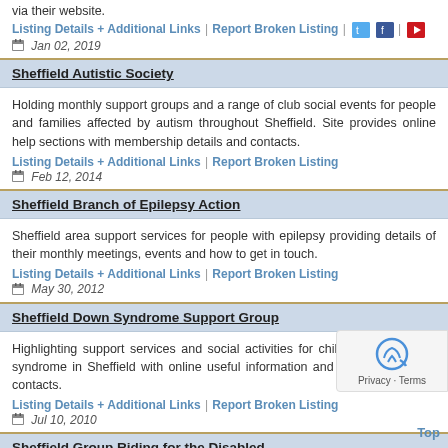via their website.
Listing Details + Additional Links | Report Broken Listing  Jan 02, 2019
Sheffield Autistic Society
Holding monthly support groups and a range of club social events for people and families affected by autism throughout Sheffield. Site provides online help sections with membership details and contacts.
Listing Details + Additional Links | Report Broken Listing  Feb 12, 2014
Sheffield Branch of Epilepsy Action
Sheffield area support services for people with epilepsy providing details of their monthly meetings, events and how to get in touch.
Listing Details + Additional Links | Report Broken Listing  May 30, 2012
Sheffield Down Syndrome Support Group
Highlighting support services and social activities for children with Down's syndrome in Sheffield with online useful information and the organisations contacts.
Listing Details + Additional Links | Report Broken Listing  Jul 10, 2010
Sheffield Group Riding for the Disabled
Riding for the disabled offered at Cowley Riding School (Holmesfield...